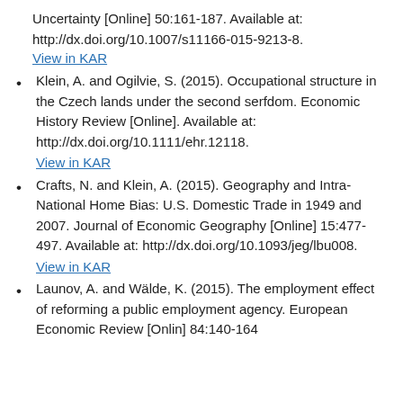Uncertainty [Online] 50:161-187. Available at: http://dx.doi.org/10.1007/s11166-015-9213-8.
View in KAR
Klein, A. and Ogilvie, S. (2015). Occupational structure in the Czech lands under the second serfdom. Economic History Review [Online]. Available at: http://dx.doi.org/10.1111/ehr.12118. View in KAR
Crafts, N. and Klein, A. (2015). Geography and Intra-National Home Bias: U.S. Domestic Trade in 1949 and 2007. Journal of Economic Geography [Online] 15:477-497. Available at: http://dx.doi.org/10.1093/jeg/lbu008. View in KAR
Launov, A. and Wälde, K. (2015). The employment effect of reforming a public employment agency. European Economic Review [Online] 84:140-164.